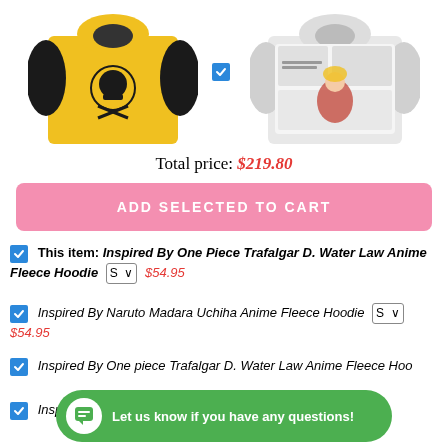[Figure (photo): Two anime hoodies: left is a yellow hoodie with black sleeves and a skull/heart logo (One Piece Trafalgar D. Water Law), right is a white/grey hoodie with comic book manga print (My Hero Academia). Small checkbox icon visible between them.]
Total price: $219.80
ADD SELECTED TO CART
This item: Inspired By One Piece Trafalgar D. Water Law Anime Fleece Hoodie S $54.95
Inspired By Naruto Madara Uchiha Anime Fleece Hoodie S $54.95
Inspired By One piece Trafalgar D. Water Law Anime Fleece Hoo...
Inspired... Hoodie S $54.95
Let us know if you have any questions!